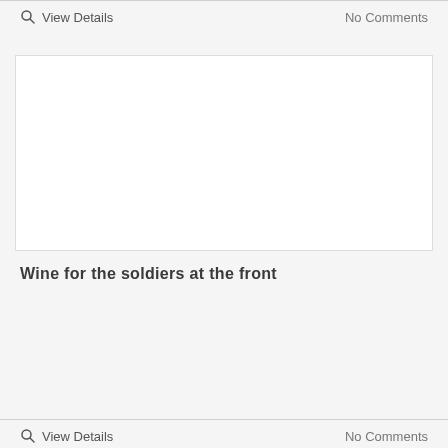View Details
No Comments
[Figure (photo): Large white/blank image placeholder with light border]
Wine for the soldiers at the front
View Details
No Comments